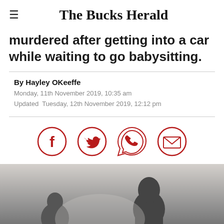The Bucks Herald
murdered after getting into a car while waiting to go babysitting.
By Hayley OKeeffe
Monday, 11th November 2019, 10:35 am
Updated  Tuesday, 12th November 2019, 12:12 pm
[Figure (infographic): Social share icons: Facebook, Twitter, WhatsApp, Email — red circle outlines with red icons]
[Figure (photo): Black and white photograph showing two people, partially visible, one with curly hair on the right side]